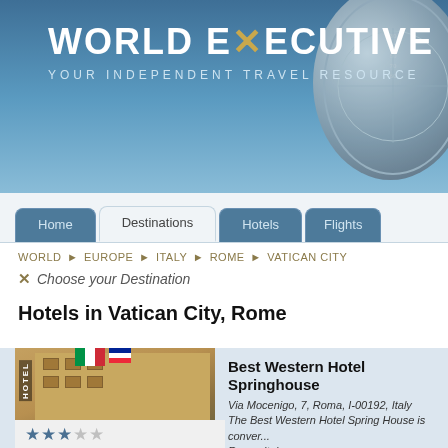[Figure (screenshot): World Executive website header banner with logo text 'WORLD EXECUTIVE' and subtitle 'YOUR INDEPENDENT TRAVEL RESOURCE' on a blue gradient background, with a compass image on the right]
WORLD EXECUTIVE — YOUR INDEPENDENT TRAVEL RESOURCE
Home | Destinations | Hotels | Flights
WORLD ► EUROPE ► ITALY ► ROME ► VATICAN CITY
✕ Choose your Destination
Hotels in Vatican City, Rome
[Figure (photo): Photo of Best Western Hotel Springhouse building exterior with flags and 'HOTEL' sign]
Best Western Hotel Springhouse
Via Mocenigo, 7, Roma, I-00192, Italy
The Best Western Hotel Spring House is conveniently located in Rome, Italy....
More Information
★★★☆☆ (3 stars)